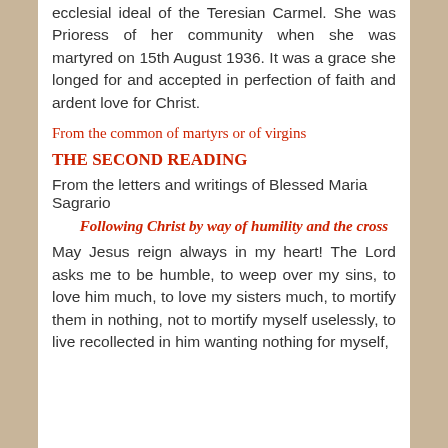ecclesial ideal of the Teresian Carmel. She was Prioress of her community when she was martyred on 15th August 1936. It was a grace she longed for and accepted in perfection of faith and ardent love for Christ.
From the common of martyrs or of virgins
THE SECOND READING
From the letters and writings of Blessed Maria Sagrario
Following Christ by way of humility and the cross
May Jesus reign always in my heart! The Lord asks me to be humble, to weep over my sins, to love him much, to love my sisters much, to mortify them in nothing, not to mortify myself uselessly, to live recollected in him wanting nothing for myself,